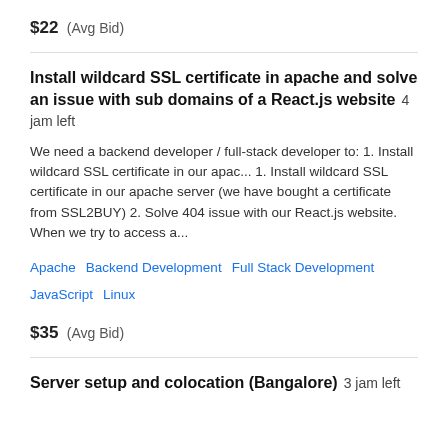$22  (Avg Bid)
Install wildcard SSL certificate in apache and solve an issue with sub domains of a React.js website  4 jam left
We need a backend developer / full-stack developer to: 1. Install wildcard SSL certificate in our apac... 1. Install wildcard SSL certificate in our apache server (we have bought a certificate from SSL2BUY) 2. Solve 404 issue with our React.js website. When we try to access a...
Apache
Backend Development
Full Stack Development
JavaScript
Linux
$35  (Avg Bid)
Server setup and colocation (Bangalore)  3 jam left